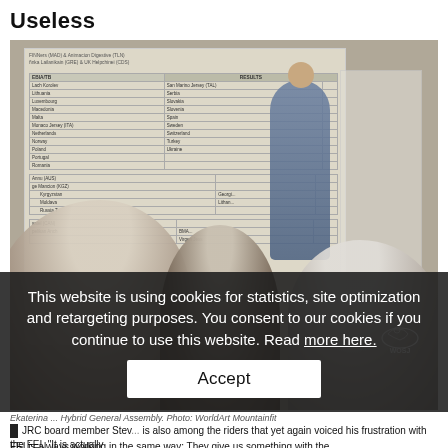Useless
[Figure (photo): A woman speaking at a podium/microphone in front of a projected presentation showing results tables, with audience members in the foreground (blurred). A WOSJ logo is visible in the lower right of the photo.]
This website is using cookies for statistics, site optimization and retargeting purposes. You consent to our cookies if you continue to use this website. Read more here.
Accept
Ekaterina ... Hybrid General Assembly. Photo: WorldArt Mountainfit
JRC board member Stev... is also among the riders that yet again voiced his frustration with the FEI. "It is actually
FEI is always working in the same way: They give us something with the